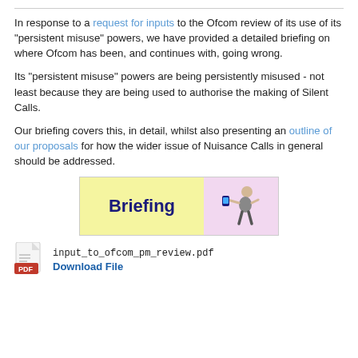In response to a request for inputs to the Ofcom review of its use of its "persistent misuse" powers, we have provided a detailed briefing on where Ofcom has been, and continues with, going wrong.
Its "persistent misuse" powers are being persistently misused - not least because they are being used to authorise the making of Silent Calls.
Our briefing covers this, in detail, whilst also presenting an outline of our proposals for how the wider issue of Nuisance Calls in general should be addressed.
[Figure (illustration): Yellow and pink banner reading 'Briefing' with a small figure holding a phone on the right side]
input_to_ofcom_pm_review.pdf
Download File